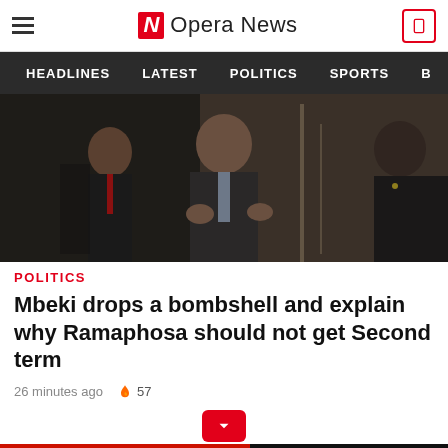Opera News
HEADLINES  LATEST  POLITICS  SPORTS  B
[Figure (photo): Three men in suits conversing at an event; the central man gestures with both hands while speaking to another man on the right, with a third man visible in the background on the left.]
POLITICS
Mbeki drops a bombshell and explain why Ramaphosa should not get Second term
26 minutes ago  57
[Figure (screenshot): Advertisement banner: BitLife – Start a New Life. Red background with FAIL text and cartoon character, black strip on the right with BitLife logo and 'START A NEW LIFE' tagline.]